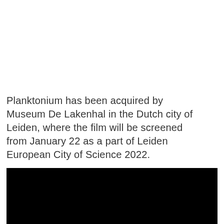Planktonium has been acquired by Museum De Lakenhal in the Dutch city of Leiden, where the film will be screened from January 22 as a part of Leiden European City of Science 2022.
[Figure (photo): A large black rectangle, likely a video still or dark image placeholder.]